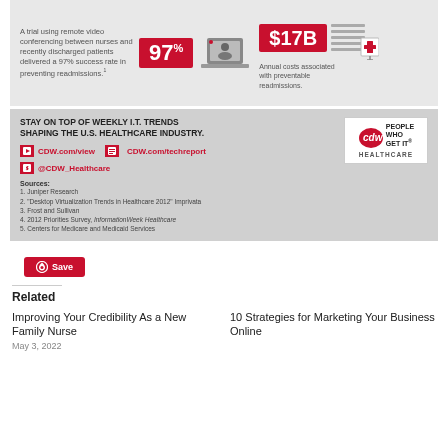[Figure (infographic): Infographic showing 97% success rate for remote video conferencing between nurses and discharged patients preventing readmissions, and $17B annual costs associated with preventable readmissions. Includes laptop/video icon and hospital icon.]
STAY ON TOP OF WEEKLY I.T. TRENDS SHAPING THE U.S. HEALTHCARE INDUSTRY.
CDW.com/view
CDW.com/techreport
@CDW_Healthcare
[Figure (logo): CDW Healthcare logo: CDW badge with PEOPLE WHO GET IT text, HEALTHCARE label]
Sources:
1. Juniper Research
2. "Desktop Virtualization Trends in Healthcare 2012" Imprivata
3. Frost and Sullivan
4. 2012 Priorities Survey, InformationWeek Healthcare
5. Centers for Medicare and Medicaid Services
Save
Related
Improving Your Credibility As a New Family Nurse
May 3, 2022
10 Strategies for Marketing Your Business Online